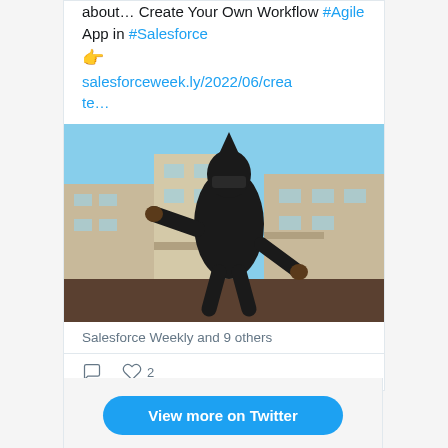about… Create Your Own Workflow #Agile App in #Salesforce 👉 salesforceweek.ly/2022/06/create…
[Figure (photo): Person dressed in all-black ninja costume posing in front of apartment buildings]
Salesforce Weekly and 9 others
💬  ♡ 2
View more on Twitter
Learn more about privacy on Twitter